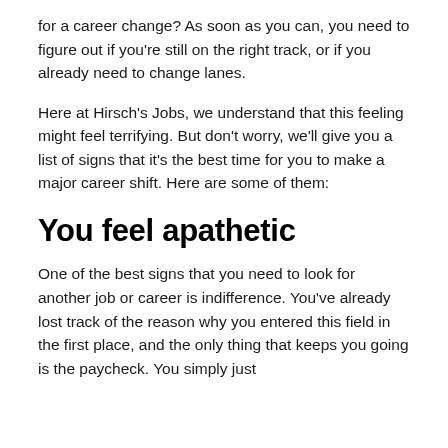for a career change? As soon as you can, you need to figure out if you're still on the right track, or if you already need to change lanes.
Here at Hirsch's Jobs, we understand that this feeling might feel terrifying. But don't worry, we'll give you a list of signs that it's the best time for you to make a major career shift. Here are some of them:
You feel apathetic
One of the best signs that you need to look for another job or career is indifference. You've already lost track of the reason why you entered this field in the first place, and the only thing that keeps you going is the paycheck. You simply just